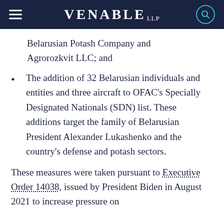VENABLE LLP
Belarusian Potash Company and Agrorozkvit LLC; and
The addition of 32 Belarusian individuals and entities and three aircraft to OFAC's Specially Designated Nationals (SDN) list. These additions target the family of Belarusian President Alexander Lukashenko and the country's defense and potash sectors.
These measures were taken pursuant to Executive Order 14038, issued by President Biden in August 2021 to increase pressure on